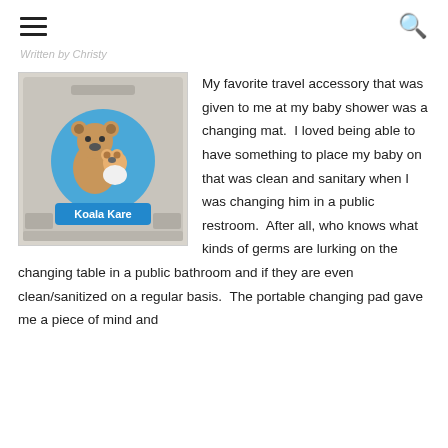☰  🔍
Written by Christy
[Figure (photo): A Koala Kare baby changing station with a logo showing two koala bears (parent and baby) on a blue circular background, with 'Koala Kare' text on a blue placard.]
My favorite travel accessory that was given to me at my baby shower was a changing mat.  I loved being able to have something to place my baby on that was clean and sanitary when I was changing him in a public restroom.  After all, who knows what kinds of germs are lurking on the changing table in a public bathroom and if they are even clean/sanitized on a regular basis.  The portable changing pad gave me a piece of mind and